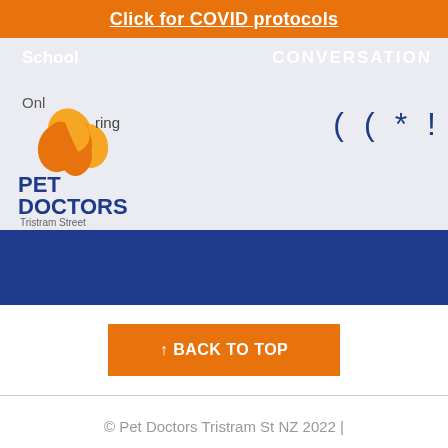Click for COVID protocols
[Figure (logo): Pet Doctors Tristram Street logo with orange and yellow heart shape icon, blue text PET DOCTORS, gray text Tristram Street]
School
CONVERSATION
Online Ordering
↑ BACK TO TOP
© Pet Doctors Tristram St NZ 2022 | Privacy statement Terms & conditions |